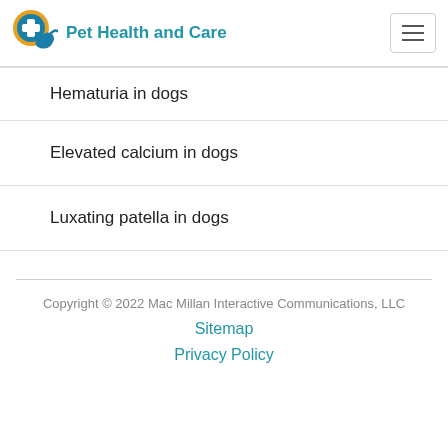Pet Health and Care
Hematuria in dogs
Elevated calcium in dogs
Luxating patella in dogs
Copyright © 2022 Mac Millan Interactive Communications, LLC
Sitemap
Privacy Policy